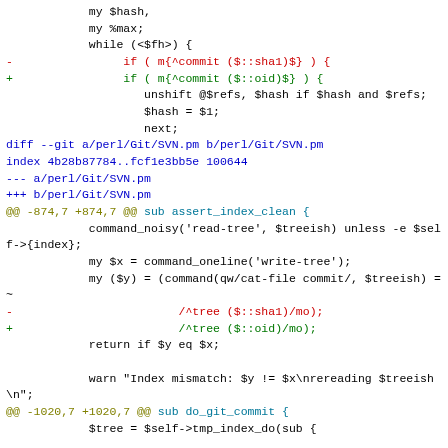Code diff showing changes in perl/Git/SVN.pm replacing $::sha1 with $::oid in commit and tree pattern matching